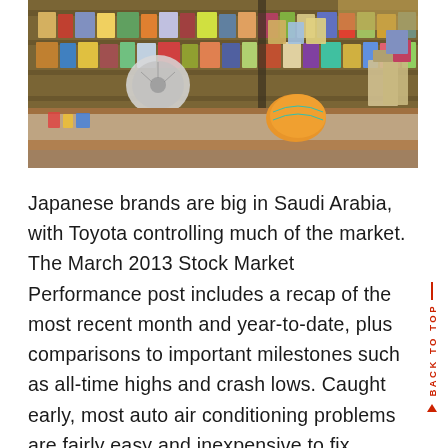[Figure (photo): Interior of a shop or store with shelves full of products, a counter, a fan, and various goods stacked throughout.]
Japanese brands are big in Saudi Arabia, with Toyota controlling much of the market. The March 2013 Stock Market Performance post includes a recap of the most recent month and year-to-date, plus comparisons to important milestones such as all-time highs and crash lows. Caught early, most auto air conditioning problems are fairly easy and inexpensive to fix.